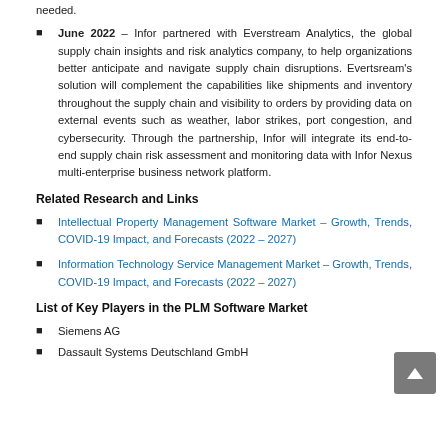needed.
June 2022 – Infor partnered with Everstream Analytics, the global supply chain insights and risk analytics company, to help organizations better anticipate and navigate supply chain disruptions. Evertsream's solution will complement the capabilities like shipments and inventory throughout the supply chain and visibility to orders by providing data on external events such as weather, labor strikes, port congestion, and cybersecurity. Through the partnership, Infor will integrate its end-to-end supply chain risk assessment and monitoring data with Infor Nexus multi-enterprise business network platform.
Related Research and Links
Intellectual Property Management Software Market – Growth, Trends, COVID-19 Impact, and Forecasts (2022 – 2027)
Information Technology Service Management Market – Growth, Trends, COVID-19 Impact, and Forecasts (2022 – 2027)
List of Key Players in the PLM Software Market
Siemens AG
Dassault Systems Deutschland GmbH